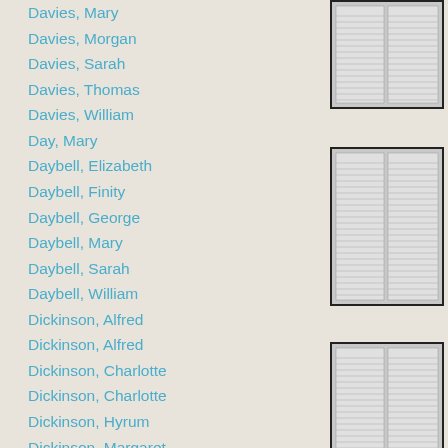Davies, Mary
Davies, Morgan
Davies, Sarah
Davies, Thomas
Davies, William
Day, Mary
Daybell, Elizabeth
Daybell, Finity
Daybell, George
Daybell, Mary
Daybell, Sarah
Daybell, William
Dickinson, Alfred
Dickinson, Alfred
Dickinson, Charlotte
Dickinson, Charlotte
Dickinson, Hyrum
Dickinson, Margaret
Dickinson, Richard H.
Dickinson, Sarah J.
Drables, Charles
Drables, Charlotte
Duncombe, Eliza
Dutton, James
Edwards, David
Edwards, Edward
Edwards, Elizabeth
[Figure (photo): Scanned historical document/ledger page thumbnail]
[Figure (photo): Scanned historical document/ledger page thumbnail]
[Figure (photo): Scanned historical document/ledger page thumbnail]
[Figure (photo): Scanned historical document/ledger page thumbnail]